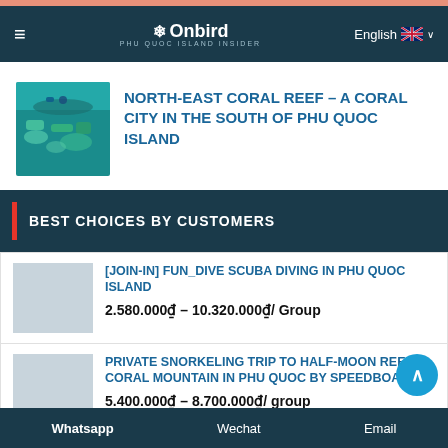Onbird – PHU QUOC ISLAND INSIDER | English
[Figure (photo): Underwater coral reef photo showing scuba diver above colorful reef]
NORTH-EAST CORAL REEF – A CORAL CITY IN THE SOUTH OF PHU QUOC ISLAND
BEST CHOICES BY CUSTOMERS
[Figure (photo): Placeholder thumbnail for Join-in Fun Dive Scuba Diving product]
[JOIN-IN] FUN_DIVE SCUBA DIVING IN PHU QUOC ISLAND
2.580.000₫ – 10.320.000₫/ Group
[Figure (photo): Placeholder thumbnail for Private Snorkeling Trip product]
PRIVATE SNORKELING TRIP TO HALF-MOON REEF & CORAL MOUNTAIN IN PHU QUOC BY SPEEDBOAT
5.400.000₫ – 8.700.000₫/ group
Whatsapp   Wechat   Email